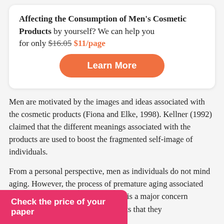Affecting the Consumption of Men's Cosmetic Products by yourself? We can help you
for only $16.05 $11/page
[Figure (other): Orange rounded button with white text 'Learn More']
Men are motivated by the images and ideas associated with the cosmetic products (Fiona and Elke, 1998). Kellner (1992) claimed that the different meanings associated with the products are used to boost the fragmented self-image of individuals.
From a personal perspective, men as individuals do not mind aging. However, the process of premature aging associated with lifestyle choices and pollution is a major concern (Temple, 2005). Such concerns ducts that they process of aging so
Check the price of your paper